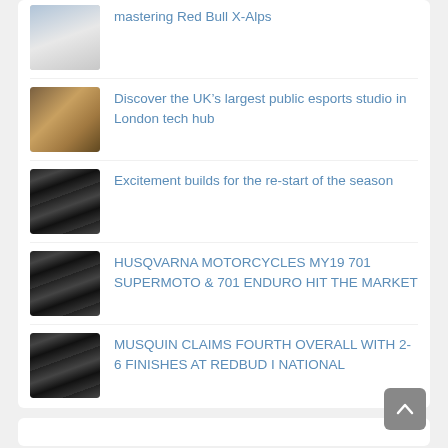mastering Red Bull X-Alps
Discover the UK’s largest public esports studio in London tech hub
Excitement builds for the re-start of the season
HUSQVARNA MOTORCYCLES MY19 701 SUPERMOTO & 701 ENDURO HIT THE MARKET
MUSQUIN CLAIMS FOURTH OVERALL WITH 2-6 FINISHES AT REDBUD I NATIONAL
Subscribe to ASC via Email
Enter your email address to subscribe to ASC News and receive notifications of new posts by email.